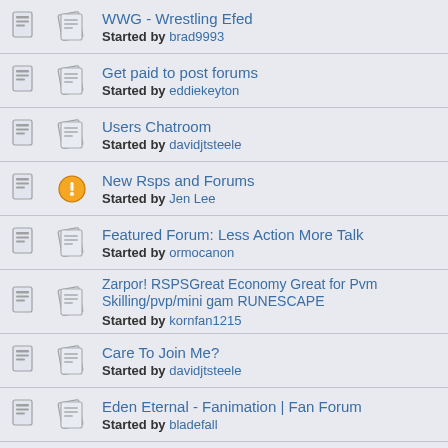WWG - Wrestling Efed
Started by brad9993
Get paid to post forums
Started by eddiekeyton
Users Chatroom
Started by davidjtsteele
New Rsps and Forums
Started by Jen Lee
Featured Forum: Less Action More Talk
Started by ormocanon
Zarpor! RSPSGreat Economy Great for Pvm Skilling/pvp/mini gam RUNESCAPE
Started by kornfan1215
Care To Join Me?
Started by davidjtsteele
Eden Eternal - Fanimation | Fan Forum
Started by bladefall